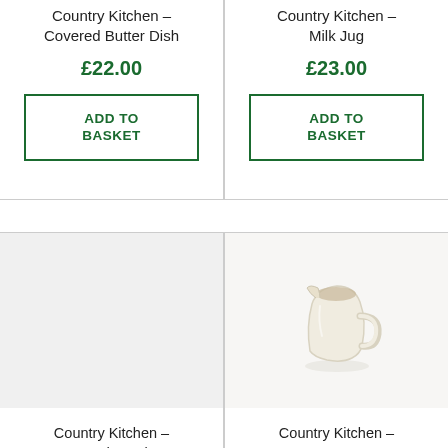Country Kitchen – Covered Butter Dish
£22.00
ADD TO BASKET
Country Kitchen – Milk Jug
£23.00
ADD TO BASKET
[Figure (photo): Empty product image area for Country Kitchen Bread Crock]
[Figure (photo): Ceramic cream-coloured milk jug / cream jug product photo]
Country Kitchen – Bread Crock
Country Kitchen – Cream Jug